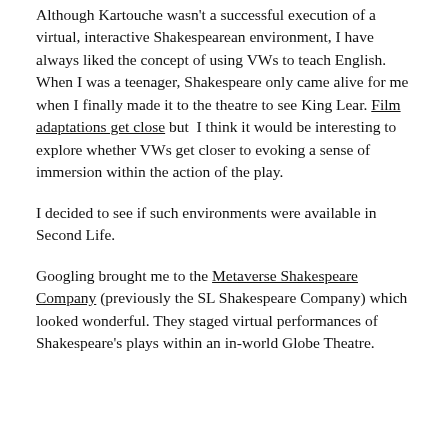Although Kartouche wasn't a successful execution of a virtual, interactive Shakespearean environment, I have always liked the concept of using VWs to teach English. When I was a teenager, Shakespeare only came alive for me when I finally made it to the theatre to see King Lear. Film adaptations get close but I think it would be interesting to explore whether VWs get closer to evoking a sense of immersion within the action of the play.
I decided to see if such environments were available in Second Life.
Googling brought me to the Metaverse Shakespeare Company (previously the SL Shakespeare Company) which looked wonderful. They staged virtual performances of Shakespeare's plays within an in-world Globe Theatre.